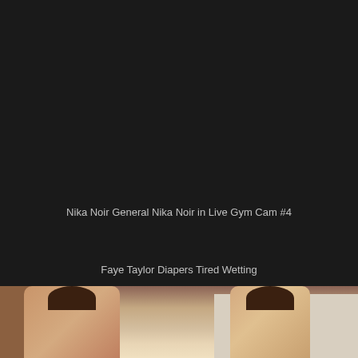Nika Noir General Nika Noir in Live Gym Cam #4
Faye Taylor Diapers Tired Wetting
[Figure (photo): Partial photo of two people visible at the bottom of the page, dark background above]